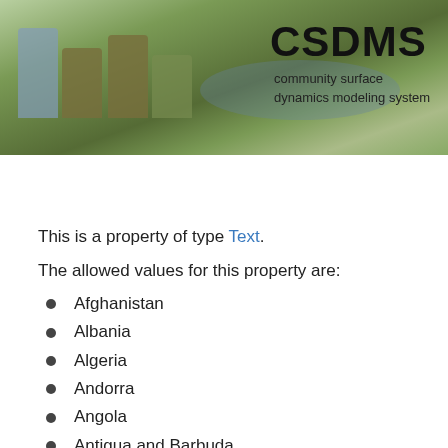[Figure (screenshot): CSDMS website header banner with landscape photo background, colored rectangular blocks, CSDMS logo text and subtitle 'community surface dynamics modeling system']
[Figure (screenshot): Dark navigation bar with home icon and hamburger menu icon]
This is a property of type Text.
The allowed values for this property are:
Afghanistan
Albania
Algeria
Andorra
Angola
Antigua and Barbuda
Argentina
Armenia
Australia
Austria